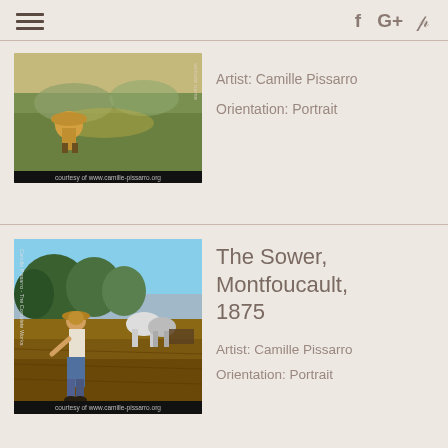≡  f G+ P
[Figure (photo): Painting by Camille Pissarro showing figures in a green landscape, courtesy of www.camille-pissarro.org]
Artist: Camille Pissarro
Orientation: Portrait
[Figure (photo): The Sower, Montfoucault, 1875 - painting by Camille Pissarro showing a sower in a field with horses, courtesy of www.camille-pissarro.org]
The Sower, Montfoucault, 1875
Artist: Camille Pissarro
Orientation: Portrait